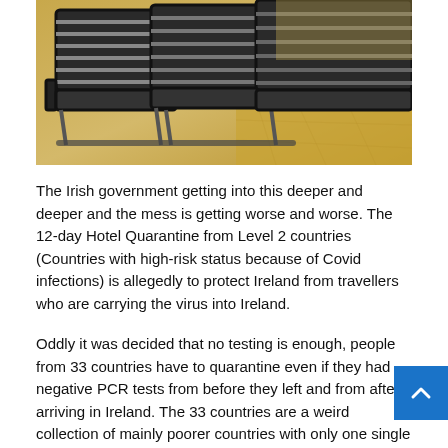[Figure (photo): Sepia-toned photograph of airport seating chairs in a terminal, with striped upholstery, viewed from above at an angle.]
The Irish government getting into this deeper and deeper and the mess is getting worse and worse. The 12-day Hotel Quarantine from Level 2 countries (Countries with high-risk status because of Covid infections) is allegedly to protect Ireland from travellers who are carrying the virus into Ireland.
Oddly it was decided that no testing is enough, people from 33 countries have to quarantine even if they had negative PCR tests from before they left and from after arriving in Ireland. The 33 countries are a weird collection of mainly poorer countries with only one single European country among them. Austria seemed to get little love from the Irish Department of Foreign Affairs, because they found themselves on this strange